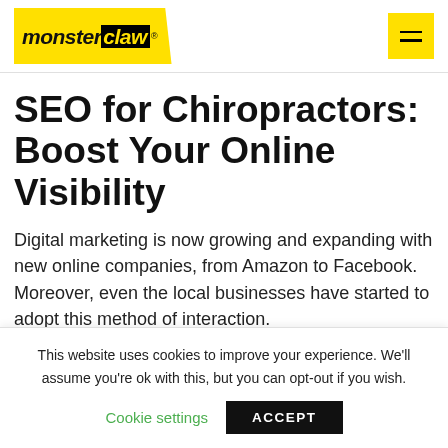[Figure (logo): MonsterClaw logo: yellow background with black parallelogram shape, italic bold text 'monster' in black and 'claw' in yellow on black background, with registered trademark symbol]
SEO for Chiropractors: Boost Your Online Visibility
Digital marketing is now growing and expanding with new online companies, from Amazon to Facebook. Moreover, even the local businesses have started to adopt this method of interaction.
This website uses cookies to improve your experience. We'll assume you're ok with this, but you can opt-out if you wish.